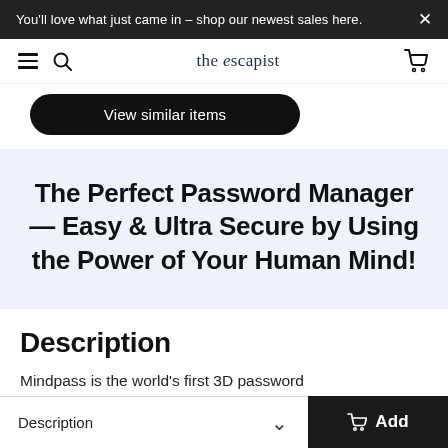You'll love what just came in – shop our newest sales here.
the escapist
[Figure (other): View similar items button (dark pill-shaped button)]
The Perfect Password Manager — Easy & Ultra Secure by Using the Power of Your Human Mind!
Description
Mindpass is the world's first 3D password
Description  ∨  Add